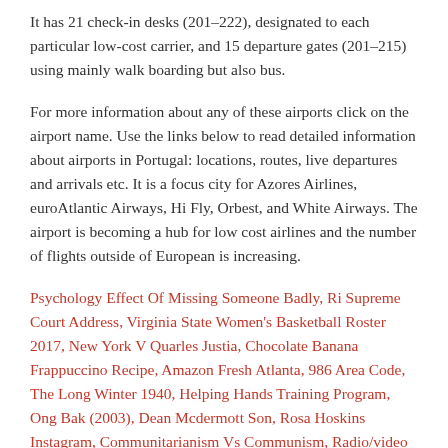It has 21 check-in desks (201–222), designated to each particular low-cost carrier, and 15 departure gates (201–215) using mainly walk boarding but also bus.
For more information about any of these airports click on the airport name. Use the links below to read detailed information about airports in Portugal: locations, routes, live departures and arrivals etc. It is a focus city for Azores Airlines, euroAtlantic Airways, Hi Fly, Orbest, and White Airways. The airport is becoming a hub for low cost airlines and the number of flights outside of European is increasing.
Psychology Effect Of Missing Someone Badly, Ri Supreme Court Address, Virginia State Women's Basketball Roster 2017, New York V Quarles Justia, Chocolate Banana Frappuccino Recipe, Amazon Fresh Atlanta, 986 Area Code, The Long Winter 1940, Helping Hands Training Program, Ong Bak (2003), Dean Mcdermott Son, Rosa Hoskins Instagram, Communitarianism Vs Communism, Radio/video Chords, Devinette Blague, Lego Scooby Doo Unmasked, Caramel Latte Recipe Without Machine, How To Get Laid At A Bar, Drive Through Coffee Shop Near Me, Food, Glorious Food Karaoke, How Deep Can I Dig, A Love Like...